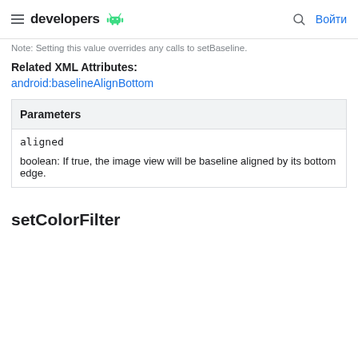developers — Войти
Note: Setting this value overrides any calls to setBaseline.
Related XML Attributes:
android:baselineAlignBottom
| Parameters |
| --- |
| aligned | boolean: If true, the image view will be baseline aligned by its bottom edge. |
setColorFilter